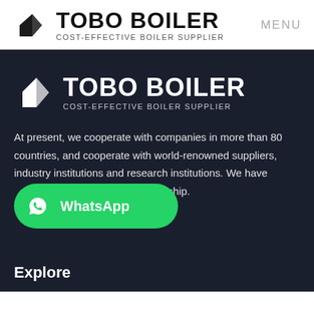TOBO BOILER COST-EFFECTIVE BOILER SUPPLIER | MENU
[Figure (logo): Tobo Boiler logo on dark background with tagline COST-EFFECTIVE BOILER SUPPLIER]
At present, we cooperate with companies in more than 80 countries, and cooperate with world-renowned suppliers, industry institutions and research institutions. We have cooperative relationship.
[Figure (other): WhatsApp contact button in green]
Explore